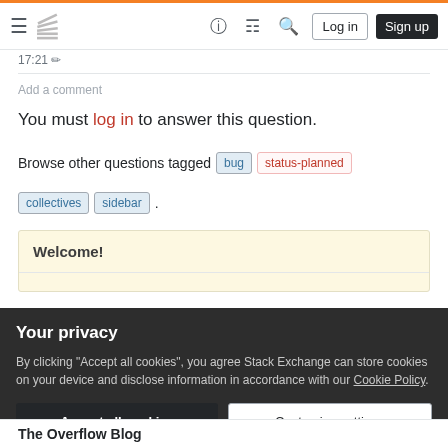Stack Exchange navigation bar with hamburger menu, logo, help, chat, search icons, Log in and Sign up buttons
17:21 ✏
Add a comment
You must log in to answer this question.
Browse other questions tagged bug status-planned collectives sidebar .
Welcome!
Your privacy
By clicking "Accept all cookies", you agree Stack Exchange can store cookies on your device and disclose information in accordance with our Cookie Policy.
Accept all cookies  Customize settings
The Overflow Blog